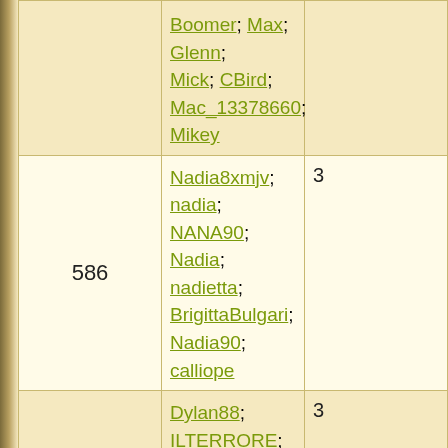| # | Usernames |  |
| --- | --- | --- |
|  | Boomer; Max; Glenn; Mick; CBird; Mac_13378660; Mikey |  |
| 586 | Nadia8xmjv; nadia; NANA90; Nadia; nadietta; BrigittaBulgari; Nadia90; calliope | 3 |
|  | Dylan88; ILTERRORE; DYLAN; ILPadrino2; ILCamorrista; Lino8ywaf; ILKAMIKAZZE; _NICOLAS_; LINCUBO; IL_CaMoRriStA_; TI_MASSACRO; Dylan; |  |
| 587 |  | 3 |